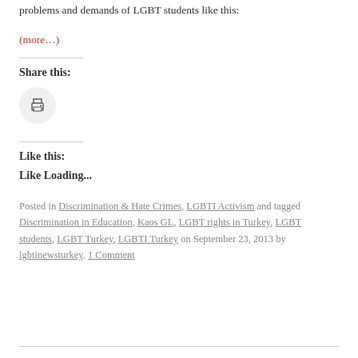problems and demands of LGBT students like this:
(more…)
Share this:
[Figure (other): Print button icon (circular grey button with printer icon)]
Like this:
Like Loading...
Posted in Discrimination & Hate Crimes, LGBTI Activism and tagged Discrimination in Education, Kaos GL, LGBT rights in Turkey, LGBT students, LGBT Turkey, LGBTI Turkey on September 23, 2013 by lgbtinewsturkey. 1 Comment